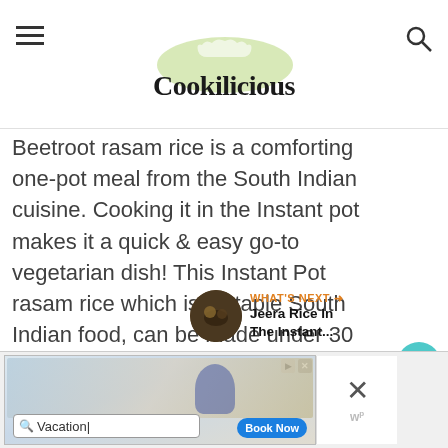Cookilicious
Beetroot rasam rice is a comforting one-pot meal from the South Indian cuisine. Cooking it in the Instant pot makes it a quick & easy go-to vegetarian dish! This Instant Pot rasam rice which is a staple South Indian food, can be made under 30 minutes!
[Figure (other): Heart/like button showing 303 likes and a share button]
[Figure (other): What's Next thumbnail link: Jeera Rice In The Instant... with a food image]
[Figure (other): Advertisement banner with Vacation search and Book Now button]